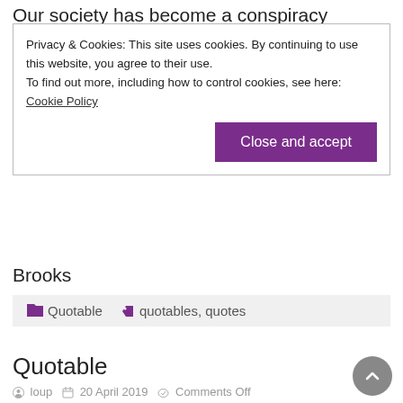Our society has become a conspiracy against joy. It
Privacy & Cookies: This site uses cookies. By continuing to use this website, you agree to their use.
To find out more, including how to control cookies, see here: Cookie Policy
Brooks
Quotable   quotables, quotes
Quotable
loup   20 April 2019   Comments Off
I'm going to keep this short and sweet. Every day you're alive is unearned. Every day you exist on Earth is a fucking miracle. Your parents made you and raised you (or didn't) without your permission.